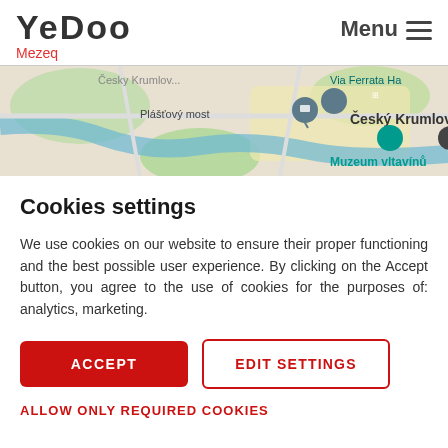Yedoo Mezeq  Menu
[Figure (map): Map showing Český Krumlov area with markers for Plášťový most, Muzeum vltavínů, Via Ferrata Ha (partial), and a location pin icon.]
Cookies settings
We use cookies on our website to ensure their proper functioning and the best possible user experience. By clicking on the Accept button, you agree to the use of cookies for the purposes of: analytics, marketing.
ACCEPT
EDIT SETTINGS
ALLOW ONLY REQUIRED COOKIES